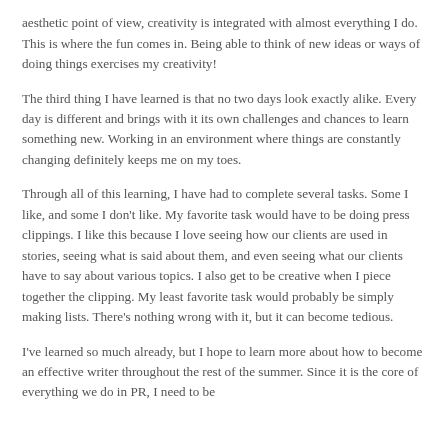aesthetic point of view, creativity is integrated with almost everything I do. This is where the fun comes in. Being able to think of new ideas or ways of doing things exercises my creativity!
The third thing I have learned is that no two days look exactly alike. Every day is different and brings with it its own challenges and chances to learn something new. Working in an environment where things are constantly changing definitely keeps me on my toes.
Through all of this learning, I have had to complete several tasks. Some I like, and some I don't like. My favorite task would have to be doing press clippings. I like this because I love seeing how our clients are used in stories, seeing what is said about them, and even seeing what our clients have to say about various topics. I also get to be creative when I piece together the clipping. My least favorite task would probably be simply making lists. There's nothing wrong with it, but it can become tedious.
I've learned so much already, but I hope to learn more about how to become an effective writer throughout the rest of the summer. Since it is the core of everything we do in PR, I need to be